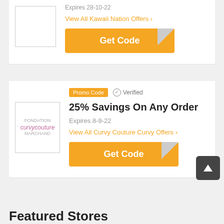Expires 28-10-22
View All Kawaii Nation Offers >
Get Code
Promo Code   ✓ Verified
25% Savings On Any Order
Expires 8-9-22
View All Curvy Couture Curvy Offers >
Get Code
Featured Stores